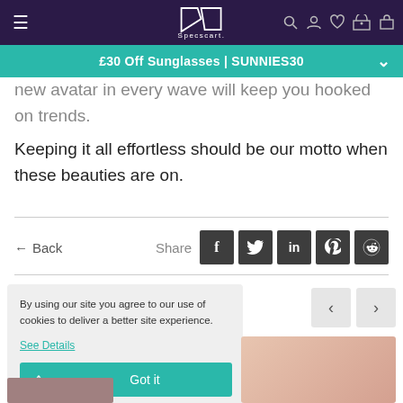Specscart navigation bar with hamburger menu, logo, search, account, wishlist, store, and cart icons
£30 Off Sunglasses | SUNNIES30
new avatar in every wave will keep you hooked on trends. Keeping it all effortless should be our motto when these beauties are on.
← Back
Share
By using our site you agree to our use of cookies to deliver a better site experience.
See Details
Got it
[Figure (screenshot): Product image partial view at bottom of page, pink/rose gold tone]